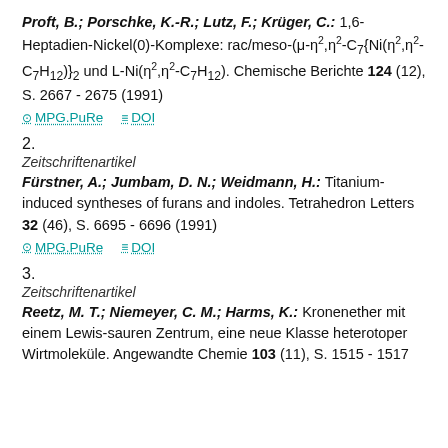Proft, B.; Porschke, K.-R.; Lutz, F.; Kruger, C.: 1,6-Heptadien-Nickel(0)-Komplexe: rac/meso-(μ-η²,η²-C7{Ni(η²,η²-C7H12)}2 und L-Ni(η²,η²-C7H12). Chemische Berichte 124 (12), S. 2667 - 2675 (1991)
MPG.PuRe   DOI
2.
Zeitschriftenartikel
Fürstner, A.; Jumbam, D. N.; Weidmann, H.: Titanium-induced syntheses of furans and indoles. Tetrahedron Letters 32 (46), S. 6695 - 6696 (1991)
MPG.PuRe   DOI
3.
Zeitschriftenartikel
Reetz, M. T.; Niemeyer, C. M.; Harms, K.: Kronenether mit einem Lewis-sauren Zentrum, eine neue Klasse heterotoper Wirtmoleküle. Angewandte Chemie 103 (11), S. 1515 - 1517